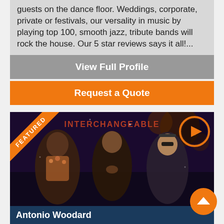guests on the dance floor. Weddings, corporate, private or festivals, our versality in music by playing top 100, smooth jazz, tribute bands will rock the house. Our 5 star reviews says it all!...
View Full Profile
Request a Quote
[Figure (photo): FEATURED card with photo of Antonio Woodard - three people posing on stage, text INTERCHANGEABLE in background, play button overlay]
Antonio Woodard
Available in Texas
Based in: Indianapolis, Indiana